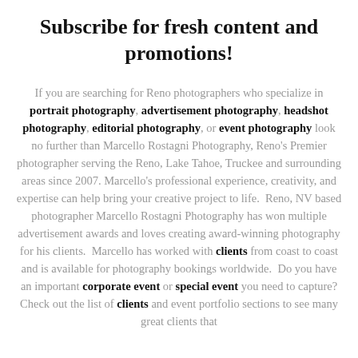Subscribe for fresh content and promotions!
If you are searching for Reno photographers who specialize in portrait photography, advertisement photography, headshot photography, editorial photography, or event photography look no further than Marcello Rostagni Photography, Reno's Premier photographer serving the Reno, Lake Tahoe, Truckee and surrounding areas since 2007. Marcello's professional experience, creativity, and expertise can help bring your creative project to life.  Reno, NV based photographer Marcello Rostagni Photography has won multiple advertisement awards and loves creating award-winning photography for his clients.  Marcello has worked with clients from coast to coast and is available for photography bookings worldwide.  Do you have an important corporate event or special event you need to capture? Check out the list of clients and event portfolio sections to see many great clients that…